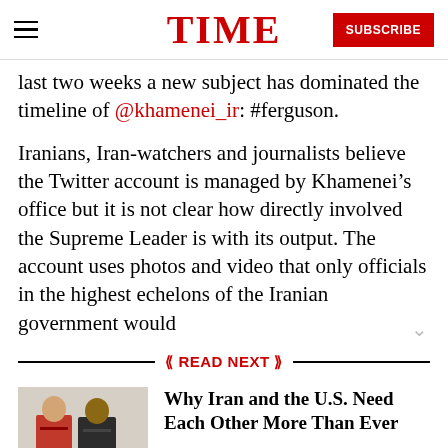TIME  SUBSCRIBE
last two weeks a new subject has dominated the timeline of @khamenei_ir: #ferguson.
Iranians, Iran-watchers and journalists believe the Twitter account is managed by Khamenei’s office but it is not clear how directly involved the Supreme Leader is with its output. The account uses photos and video that only officials in the highest echelons of the Iranian government would
« READ NEXT »
[Figure (photo): Two men in suits, one in a red tie, standing together — appears to be a diplomatic meeting photo]
Why Iran and the U.S. Need Each Other More Than Ever